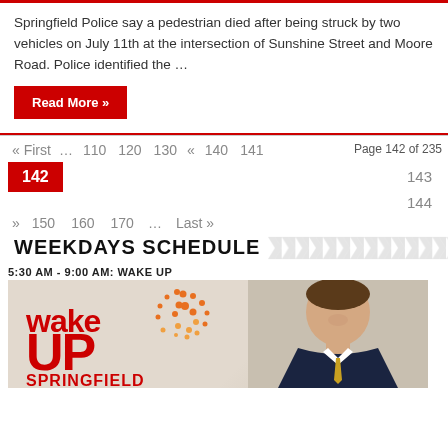Springfield Police say a pedestrian died after being struck by two vehicles on July 11th at the intersection of Sunshine Street and Moore Road. Police identified the …
Read More »
« First … 110 120 130 « 140 141 Page 142 of 235 142 143 144 » 150 160 170 … Last »
WEEKDAYS SCHEDULE
5:30 AM - 9:00 AM: WAKE UP
[Figure (photo): Wake Up Springfield morning show logo with orange dotted sunburst graphic and a male news anchor in suit]